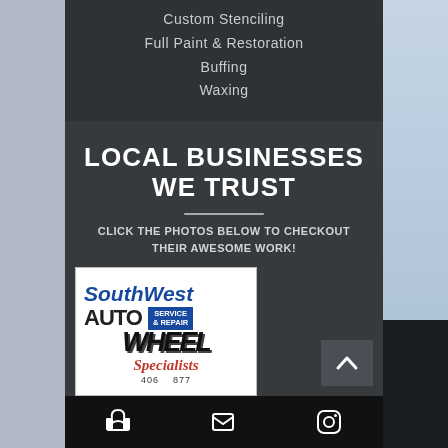Custom Stenciling
Full Paint & Restoration
Buffing
Waxing
LOCAL BUSINESSES WE TRUST
CLICK THE PHOTOS BELOW TO CHECKOUT THEIR AWESOME WORK!
[Figure (logo): Southwest Auto Wheel Specialists Service & Repair logo with phone number]
[Figure (infographic): Back to top arrow button]